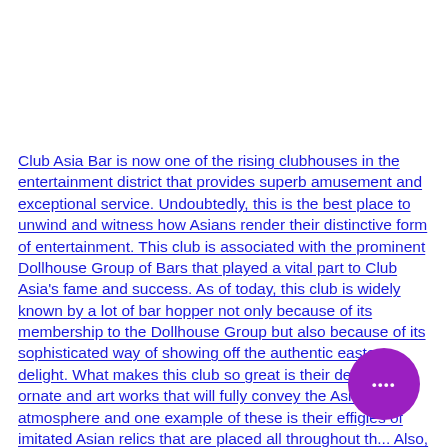Club Asia Bar is now one of the rising clubhouses in the entertainment district that provides superb amusement and exceptional service. Undoubtedly, this is the best place to unwind and witness how Asians render their distinctive form of entertainment. This club is associated with the prominent Dollhouse Group of Bars that played a vital part to Club Asia's fame and success. As of today, this club is widely known by a lot of bar hopper not only because of its membership to the Dollhouse Group but also because of its sophisticated way of showing off the authentic eastern delight. What makes this club so great is their decorative ornate and art works that will fully convey the Asian atmosphere and one example of these is their effigies of imitated Asian relics that are placed all throughout th... Also, to completely portray the oriental ambiance, r... colored walls and decorations complete the whole Cl... Asia's interiors. Moreover, Club Asia Bar became so popular
[Figure (other): Purple circular chat bubble icon with four white dots in the bottom-right corner of the page]